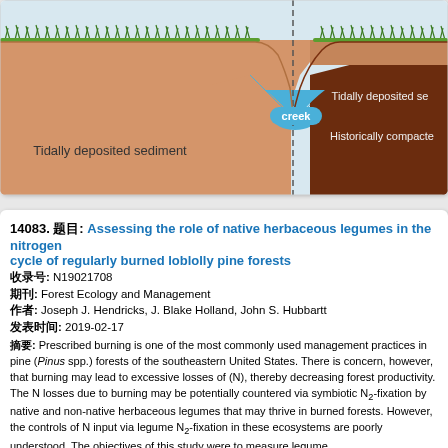[Figure (illustration): Cross-section diagram showing tidally deposited sediment on the left, a creek channel in the middle (shown in blue), and historically compacted sediment on the right (dark brown). Grass vegetation is shown at the top surface. A dashed vertical line marks the center. Labels: 'Tidally deposited sediment', 'creek', 'Tidally deposited se...' (right side), 'Historically compacte...' (right side).]
14083. 题目: Assessing the role of native herbaceous legumes in the nitrogen cycle of regularly burned loblolly pine forests
收录号: N19021708
期刊: Forest Ecology and Management
作者: Joseph J. Hendricks, J. Blake Holland, John S. Hubbartt
发表时间: 2019-02-17
摘要: Prescribed burning is one of the most commonly used management practices in pine (Pinus spp.) forests of the southeastern United States. There is concern, however, that burning may lead to excessive losses of nitrogen (N), thereby decreasing forest productivity. The N losses due to burning may be potentially countered via symbiotic N2-fixation by native and non-native herbaceous legumes that may thrive in burned forests. However, the controls of N input via legume N2-fixation in these ecosystems are poorly understood. The objectives of this study were to measure legume...